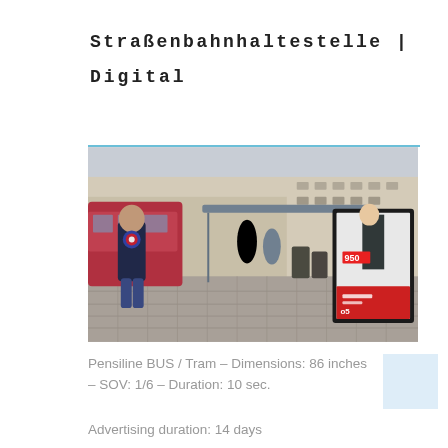Straßenbahnhaltestelle | Digital
[Figure (photo): Street-level photo of a tram/bus stop in a European city with a digital advertising display showing a mobile phone advertisement. A person in a Captain America t-shirt walks in the foreground. Tram visible on the left, historic buildings in background.]
Pensiline BUS / Tram – Dimensions: 86 inches – SOV: 1/6 – Duration: 10 sec.
Advertising duration: 14 days